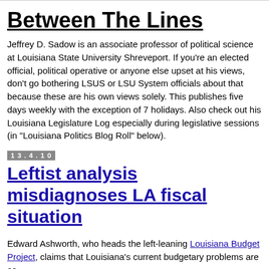Between The Lines
Jeffrey D. Sadow is an associate professor of political science at Louisiana State University Shreveport. If you're an elected official, political operative or anyone else upset at his views, don't go bothering LSUS or LSU System officials about that because these are his own views solely. This publishes five days weekly with the exception of 7 holidays. Also check out his Louisiana Legislature Log especially during legislative sessions (in "Louisiana Politics Blog Roll" below).
13.4.10
Leftist analysis misdiagnoses LA fiscal situation
Edward Ashworth, who heads the left-leaning Louisiana Budget Project, claims that Louisiana's current budgetary problems are as